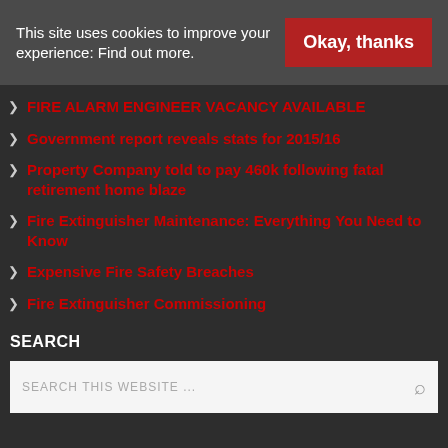This site uses cookies to improve your experience: Find out more.
Okay, thanks
FIRE ALARM ENGINEER VACANCY AVAILABLE
Government report reveals stats for 2015/16
Property Company told to pay 460k following fatal retirement home blaze
Fire Extinguisher Maintenance: Everything You Need to Know
Expensive Fire Safety Breaches
Fire Extinguisher Commissioning
SEARCH
SEARCH THIS WEBSITE ...